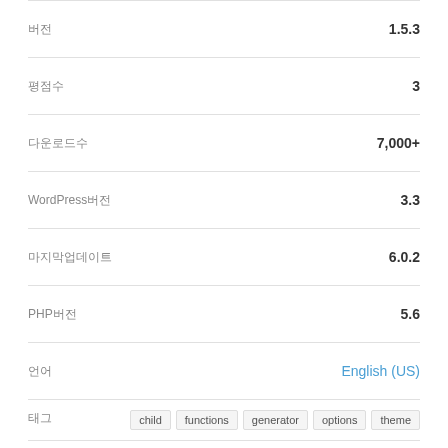| 버전 | 1.5.3 |
| 평점수 | 3 |
| 다운로드수 | 7,000+ |
| WordPress버전 | 3.3 |
| 마지막업데이트 | 6.0.2 |
| PHP버전 | 5.6 |
| 언어 | English (US) |
| 태그 | child  functions  generator  options  theme |
더보기
리뷰
모든리뷰보기 >
[Figure (other): Five gold star rating icons]